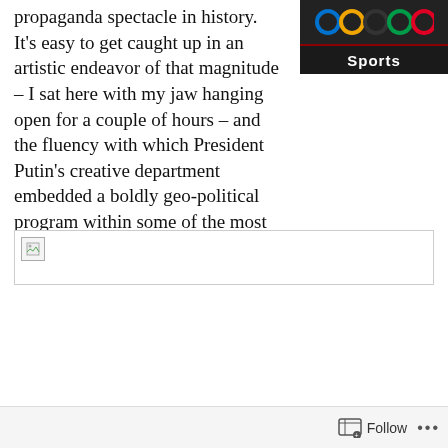propaganda spectacle in history. It's easy to get caught up in an artistic endeavor of that magnitude – I sat here with my jaw hanging open for a couple of hours – and the fluency with which President Putin's creative department embedded a boldly geo-political program within some of the most breathtaking artistry we've ever seen.
[Figure (screenshot): Dark background image showing Olympic rings above a 'Sports' label with red dividing line]
[Figure (photo): Broken image placeholder icon]
Follow ...